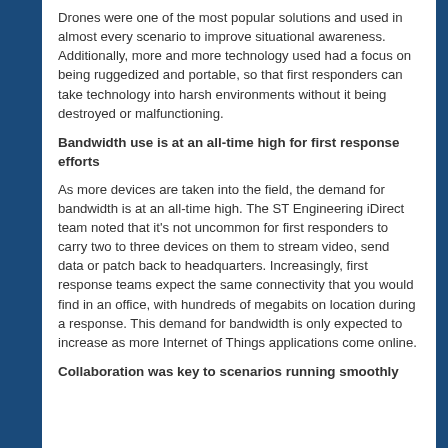Drones were one of the most popular solutions and used in almost every scenario to improve situational awareness. Additionally, more and more technology used had a focus on being ruggedized and portable, so that first responders can take technology into harsh environments without it being destroyed or malfunctioning.
Bandwidth use is at an all-time high for first response efforts
As more devices are taken into the field, the demand for bandwidth is at an all-time high. The ST Engineering iDirect team noted that it's not uncommon for first responders to carry two to three devices on them to stream video, send data or patch back to headquarters. Increasingly, first response teams expect the same connectivity that you would find in an office, with hundreds of megabits on location during a response. This demand for bandwidth is only expected to increase as more Internet of Things applications come online.
Collaboration was key to scenarios running smoothly